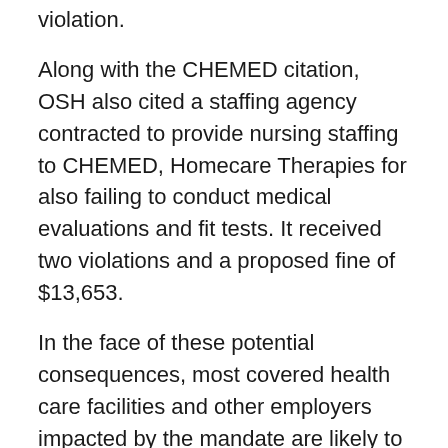violation.
Along with the CHEMED citation, OSH also cited a staffing agency contracted to provide nursing staffing to CHEMED, Homecare Therapies for also failing to conduct medical evaluations and fit tests. It received two violations and a proposed fine of $13,653.
In the face of these potential consequences, most covered health care facilities and other employers impacted by the mandate are likely to implement mandates unless and until these requirements are struct down by the courts or withdrawn.
Assuming the Administration follows appropriate procedures to adopt the rules, most legal commentators do not expect the legal challenges opposing the mandate orders to be successful in the courts particularly after the